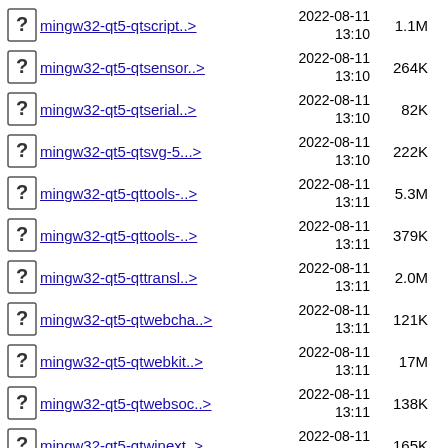mingw32-qt5-qtscript..> 2022-08-11 13:10 1.1M
mingw32-qt5-qtsensor..> 2022-08-11 13:10 264K
mingw32-qt5-qtserial..> 2022-08-11 13:10 82K
mingw32-qt5-qtsvg-5...> 2022-08-11 13:10 222K
mingw32-qt5-qttools-..> 2022-08-11 13:11 5.3M
mingw32-qt5-qttools-..> 2022-08-11 13:11 379K
mingw32-qt5-qttransl..> 2022-08-11 13:11 2.0M
mingw32-qt5-qtwebcha..> 2022-08-11 13:11 121K
mingw32-qt5-qtwebkit..> 2022-08-11 13:11 17M
mingw32-qt5-qtwebsoc..> 2022-08-11 13:11 138K
mingw32-qt5-qtwinext..> 2022-08-11 13:11 165K